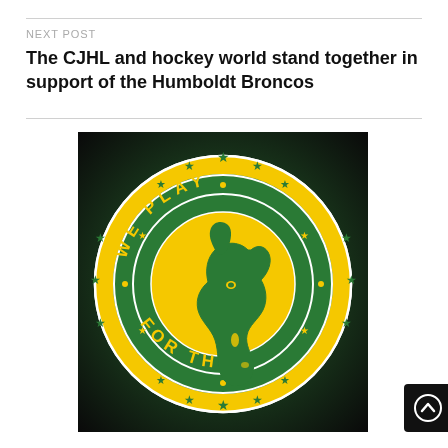NEXT POST
The CJHL and hockey world stand together in support of the Humboldt Broncos
[Figure (logo): Circular emblem on a dark green to black gradient background. The emblem has a green and yellow circular badge design with text reading 'WE PLAY FOR THEM' around a horse head illustration. Stars are arranged around the inner and outer rings of the badge. The horse head appears to have a tear drop. Colors are green and yellow/gold.]